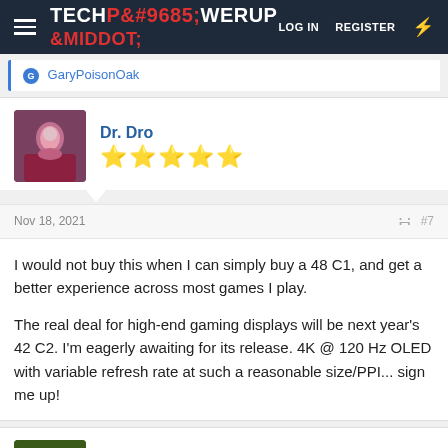TECHPOWERUP | LOG IN | REGISTER
GaryPoisonOak
Dr. Dro
[Figure (other): 5 gold stars rating]
Nov 18, 2021   #7
I would not buy this when I can simply buy a 48 C1, and get a better experience across most games I play.

The real deal for high-end gaming displays will be next year's 42 C2. I'm eagerly awaiting for its release. 4K @ 120 Hz OLED with variable refresh rate at such a reasonable size/PPI... sign me up!
mechtech
[Figure (other): 5 gold stars rating]